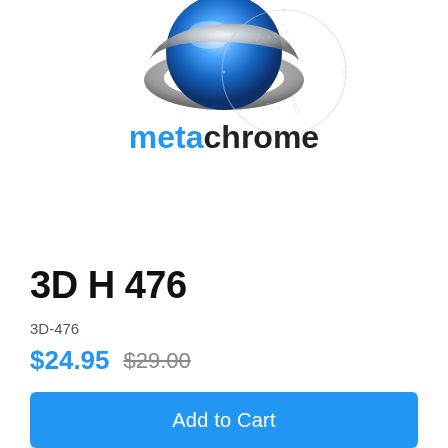[Figure (logo): Metachrome brand logo: a chrome/blue 3D sphere/ring graphic above the text 'metachrome' in bold blue lettering, with a circular watermark overlay]
3D H 476
3D-476
$24.95 $29.00
Add to Wishlist
Add to Cart